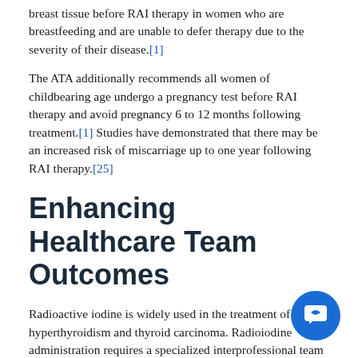breast tissue before RAI therapy in women who are breastfeeding and are unable to defer therapy due to the severity of their disease.[1]
The ATA additionally recommends all women of childbearing age undergo a pregnancy test before RAI therapy and avoid pregnancy 6 to 12 months following treatment.[1] Studies have demonstrated that there may be an increased risk of miscarriage up to one year following RAI therapy.[25]
Enhancing Healthcare Team Outcomes
Radioactive iodine is widely used in the treatment of hyperthyroidism and thyroid carcinoma. Radioiodine administration requires a specialized interprofessional team of highly trained healthcare providers, including nurses, physicians, radiotherapy-specialized pharmacists, and radiation safety. All providers involved in radioiodine administration should be aware of its indications, contraindications, and adverse effects. One